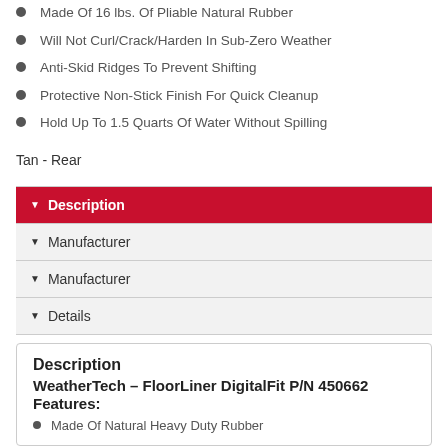Made Of 16 lbs. Of Pliable Natural Rubber
Will Not Curl/Crack/Harden In Sub-Zero Weather
Anti-Skid Ridges To Prevent Shifting
Protective Non-Stick Finish For Quick Cleanup
Hold Up To 1.5 Quarts Of Water Without Spilling
Tan - Rear
▼ Description
▼ Manufacturer
▼ Manufacturer
▼ Details
Description
WeatherTech – FloorLiner DigitalFit P/N 450662
Features:
Made Of Natural Heavy Duty Rubber